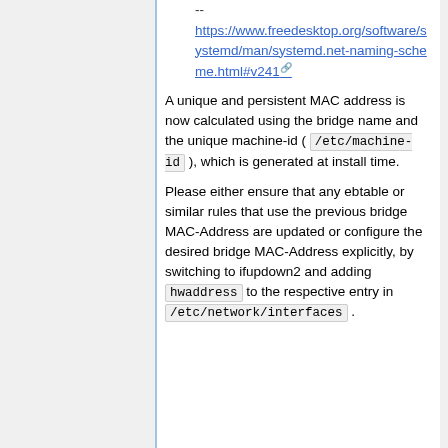--
https://www.freedesktop.org/software/systemd/man/systemd.net-naming-scheme.html#v241
A unique and persistent MAC address is now calculated using the bridge name and the unique machine-id ( /etc/machine-id ), which is generated at install time.
Please either ensure that any ebtable or similar rules that use the previous bridge MAC-Address are updated or configure the desired bridge MAC-Address explicitly, by switching to ifupdown2 and adding hwaddress to the respective entry in /etc/network/interfaces .